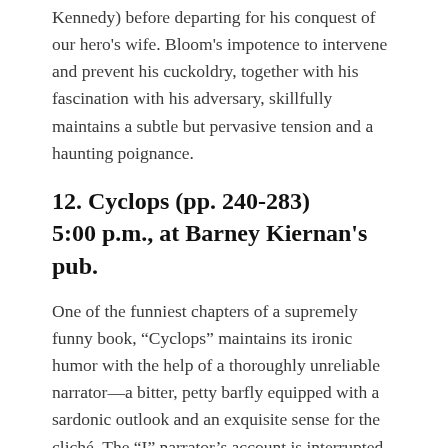Kennedy) before departing for his conquest of our hero's wife. Bloom's impotence to intervene and prevent his cuckoldry, together with his fascination with his adversary, skillfully maintains a subtle but pervasive tension and a haunting poignance.
12. Cyclops (pp. 240-283)
5:00 p.m., at Barney Kiernan's pub.
One of the funniest chapters of a supremely funny book, “Cyclops” maintains its ironic humor with the help of a thoroughly unreliable narrator—a bitter, petty barfly equipped with a sardonic outlook and an exquisite sense for the cliché. The “I” narrator’s account is interrupted by the voice of another narrator—one countering “I”’s vigorous deflations with equally preposterous inflations (in the form of amusing descriptions of Rabelaisian proportions). Among those so described is “the citizen,” a worn-out patriotic bigot in an eyepatch who plays